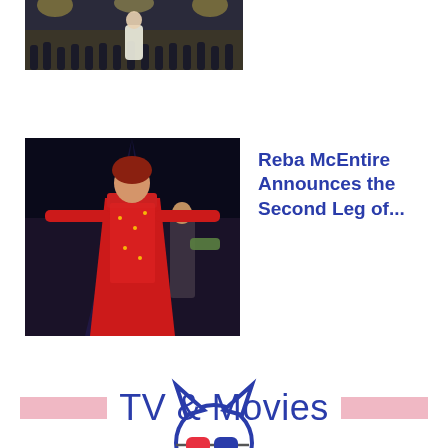[Figure (photo): Concert photo showing performers on stage with orchestra or crowd in background, dark lighting]
[Figure (photo): Reba McEntire performing on stage in red sequin dress with arms outstretched, guitarist visible in background]
Reba McEntire Announces the Second Leg of...
[Figure (logo): Cat sitting watching movie with 3D glasses (red and blue) and a popcorn bucket, outline illustration style in navy blue with pink accents]
TV & Movies